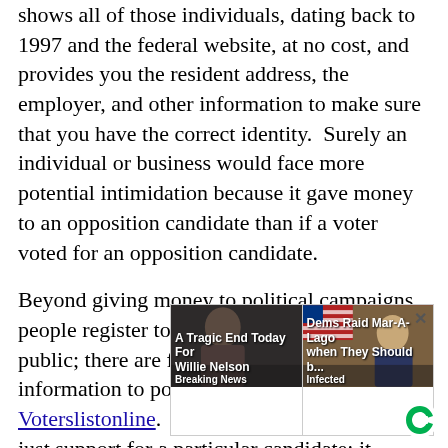shows all of those individuals, dating back to 1997 and the federal website, at no cost, and provides you the resident address, the employer, and other information to make sure that you have the correct identity.  Surely an individual or business would face more potential intimidation because it gave money to an opposition candidate than if a voter voted for an opposition candidate.
Beyond giving money to political campaigns, people register to vote, and those records are public; there are firms which actually rent this information to political organizations, like Voterslistonline.  This shows much more than just support for a particular candidate; it shows support for a particular political party.  Overwhelmingly, registered Republicans have indicated that they will vote for Romney, and, not surprisingly, registered Democrats have indicated they will vote for Oba...
[Figure (other): Advertisement overlay with two news thumbnails: left shows elderly man with caption 'A Tragic End Today For Willie Nelson / Breaking News', right shows man at desk with caption 'Dems Raid Mar-A-Lago when They Should b... / Infected'. An X close button is at top right.]